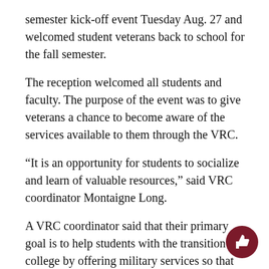semester kick-off event Tuesday Aug. 27 and welcomed student veterans back to school for the fall semester.
The reception welcomed all students and faculty. The purpose of the event was to give veterans a chance to become aware of the services available to them through the VRC.
“It is an opportunity for students to socialize and learn of valuable resources,” said VRC coordinator Montaigne Long.
A VRC coordinator said that their primary goal is to help students with the transition into college by offering military services so that they can achieve a successful academic career.
Representatives from different on-campus